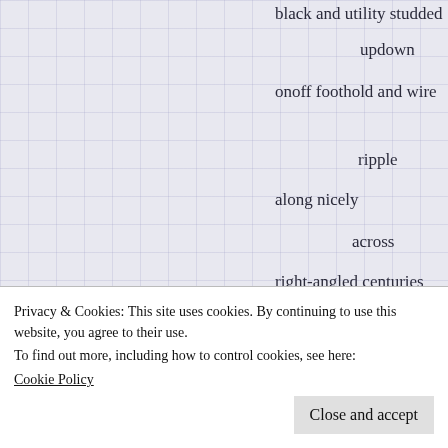black and utility studded
updown
onoff foothold and wire
ripple
along nicely
across
right-angled centuries
and
occasional shot bolts
of
deepest russian vine
[Figure (other): Red and black horizontal bar element, partial website UI element]
Privacy & Cookies: This site uses cookies. By continuing to use this website, you agree to their use.
To find out more, including how to control cookies, see here:
Cookie Policy
Close and accept